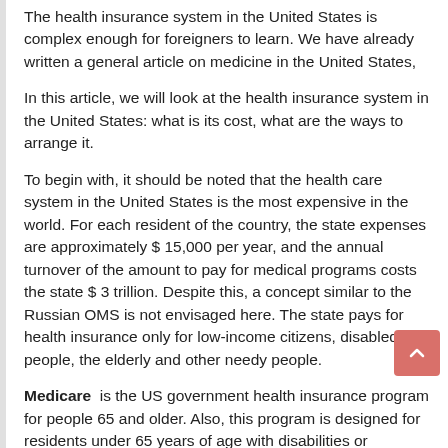The health insurance system in the United States is complex enough for foreigners to learn. We have already written a general article on medicine in the United States,
In this article, we will look at the health insurance system in the United States: what is its cost, what are the ways to arrange it.
To begin with, it should be noted that the health care system in the United States is the most expensive in the world. For each resident of the country, the state expenses are approximately $ 15,000 per year, and the annual turnover of the amount to pay for medical programs costs the state $ 3 trillion. Despite this, a concept similar to the Russian OMS is not envisaged here. The state pays for health insurance only for low-income citizens, disabled people, the elderly and other needy people.
Medicare  is the US government health insurance program for people 65 and older. Also, this program is designed for residents under 65 years of age with disabilities or especially serious diseases, such as kidney failure. The